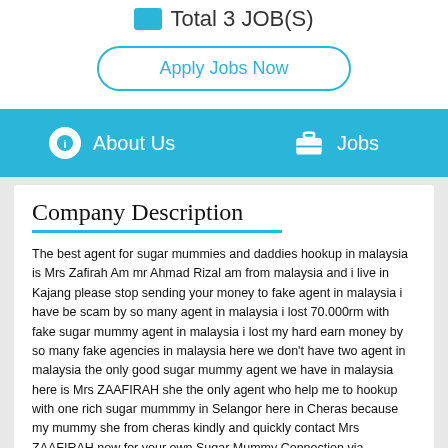Total 3 JOB(S)
Apply Jobs Now
About Us   Jobs
Company Description
The best agent for sugar mummies and daddies hookup in malaysia is Mrs Zafirah Am mr Ahmad Rizal am from malaysia and i live in Kajang please stop sending your money to fake agent in malaysia i have be scam by so many agent in malaysia i lost 70.000rm with fake sugar mummy agent in malaysia i lost my hard earn money by so many fake agencies in malaysia here we don't have two agent in malaysia the only good sugar mummy agent we have in malaysia here is Mrs ZAAFIRAH she the only agent who help me to hookup with one rich sugar mummmy in Selangor here in Cheras because my mummy she from cheras kindly and quickly contact Mrs ZAAFIRAH now for your own Sugar Mummy Connection via WHATSAPP +60